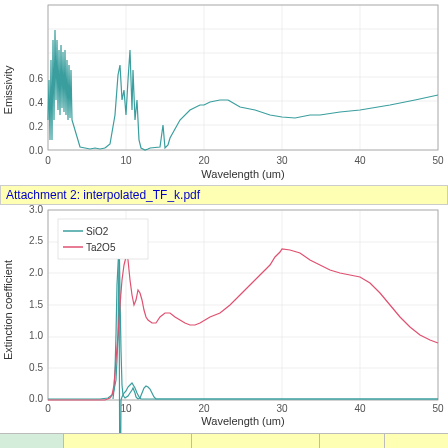[Figure (continuous-plot): Top chart showing Emissivity (y-axis, 0.0 to 0.6+) vs Wavelength in um (x-axis, 0 to 50). Teal/cyan line with large spikes near 0-3 um, peaks around 9-10 um reaching ~0.5, then decreasing to ~0.05 around 14-15 um, rising to ~0.25 around 22 um, dipping to ~0.15 around 30 um, then rising again to ~0.35 at 50 um.]
Attachment 2: interpolated_TF_k.pdf
[Figure (continuous-plot): Bottom chart showing Extinction coefficient (y-axis, 0.0 to 3.0) vs Wavelength in um (x-axis, 0 to 50). Two lines: SiO2 (teal/cyan) with sharp spike around 9 um reaching ~2.3, small bump at ~12 um (~0.2), then near zero; Ta2O5 (red/pink) starting near zero, rising sharply around 9-10 um to ~2.6 at 15 um, oscillating around 1.5-2.0 through 20 um, then rising gradually to ~2.85 at ~35 um, declining to ~1.8 at 50 um.]
Bottom table row strip (yellow/green highlighted cells)